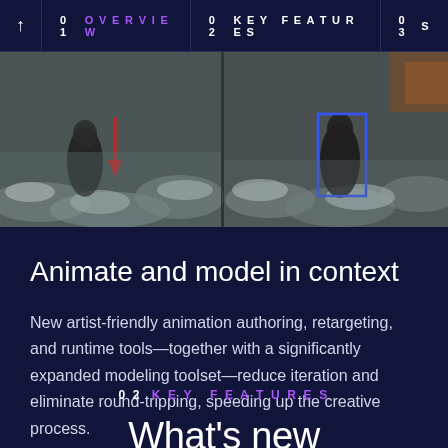↑  01 OVERVIEW  02 KEY FEATURES  03 S
[Figure (screenshot): Dark-toned cinematic scene showing figures walking on snowy rocky terrain. Left panel shows a character with a red downward arrow annotation marker. Right panel shows a character with a blue bounding box annotation overlay. Both panels appear to be from a 3D animation or game engine viewport.]
Animate and model in context
New artist-friendly animation authoring, retargeting, and runtime tools—together with a significantly expanded modeling toolset—reduce iteration and eliminate round-tripping, speeding up the creative process.
02 KEY FEATURES
What's new